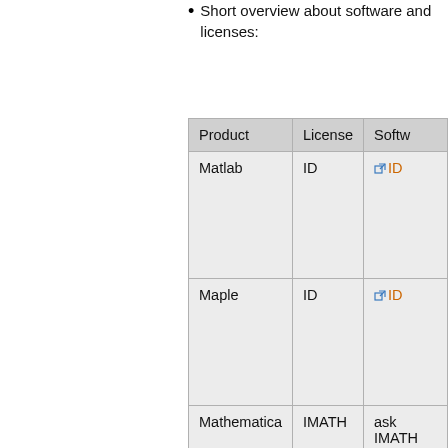Short overview about software and licenses:
| Product | License | Softw… |
| --- | --- | --- |
| Matlab | ID | 🔗 ID |
| Maple | ID | 🔗 ID |
| Mathematica | IMATH | ask IMATH supp for a copy… |